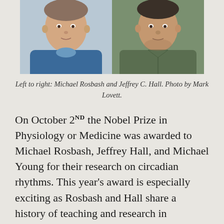[Figure (photo): Two side-by-side portrait photos of Michael Rosbash (left) and Jeffrey C. Hall (right)]
Left to right: Michael Rosbash and Jeffrey C. Hall. Photo by Mark Lovett.
On October 2ND the Nobel Prize in Physiology or Medicine was awarded to Michael Rosbash, Jeffrey Hall, and Michael Young for their research on circadian rhythms. This year's award is especially exciting as Rosbash and Hall share a history of teaching and research in Brandeis' biology department in addition to being the first long-term Brandeis faculty to win the Nobel Prize. Rosbash, whose research continues in the labs of the Carl J. Shapiro Science Center, is a current professor at Brandeis while Hall has retired to Maine. Young is